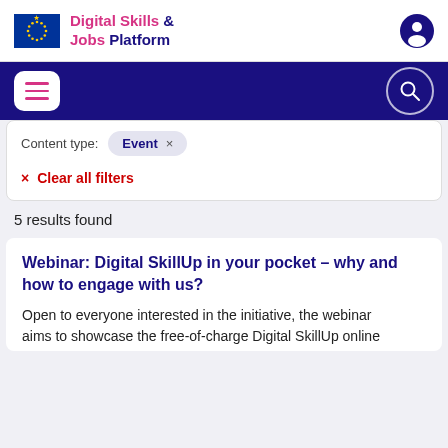Digital Skills & Jobs Platform
[Figure (screenshot): Navigation bar with hamburger menu and search icon on dark blue background]
Content type: Event ×
× Clear all filters
5 results found
Webinar: Digital SkillUp in your pocket – why and how to engage with us?
Open to everyone interested in the initiative, the webinar aims to showcase the free-of-charge Digital SkillUp online